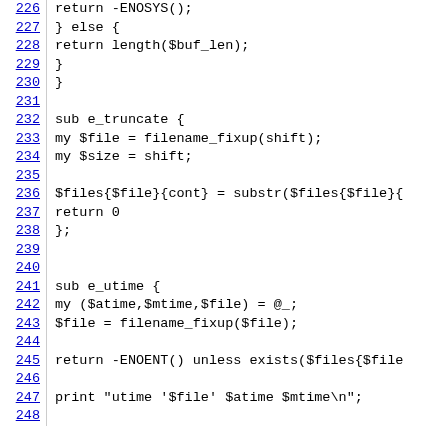Code listing lines 226-248, Perl source code showing e_truncate and e_utime subroutines